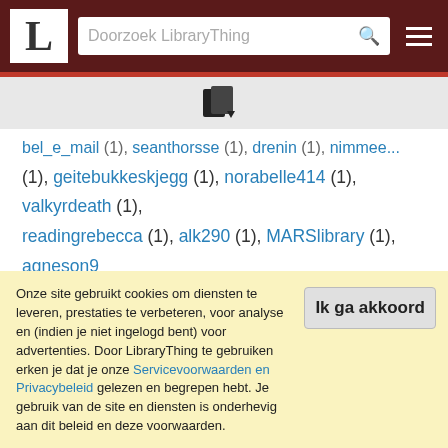Doorzoek LibraryThing
[Figure (logo): LibraryThing books icon with download arrow]
bel_e_mail (1), seanthorsse (1), drenin (1), nimmee... (1), (1), geitebukkeskjegg (1), norabelle414 (1), valkyrdeath (1), readingrebecca (1), alk290 (1), MARSlibrary (1), agneson9 (1), l-_-l (1), jonathankws (1), spiphany (1), LondonLori76 (1), passion4reading (1), al.vick (1), picturebookperson (1), aron124 (1)
Onze site gebruikt cookies om diensten te leveren, prestaties te verbeteren, voor analyse en (indien je niet ingelogd bent) voor advertenties. Door LibraryThing te gebruiken erken je dat je onze Servicevoorwaarden en Privacybeleid gelezen en begrepen hebt. Je gebruik van de site en diensten is onderhevig aan dit beleid en deze voorwaarden.